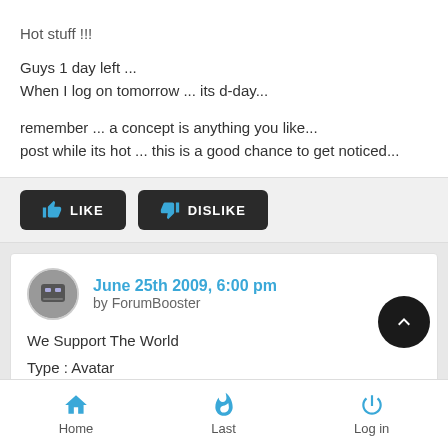Hot stuff !!!
Guys 1 day left ...
When I log on tomorrow ... its d-day...
remember ... a concept is anything you like...
post while its hot ... this is a good chance to get noticed...
LIKE  DISLIKE
June 25th 2009, 6:00 pm
by ForumBooster
We Support The World
Type : Avatar
Home  Last  Log in